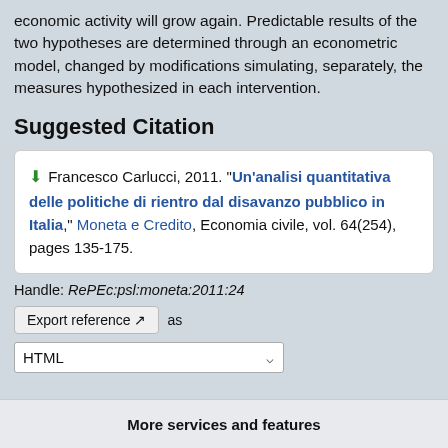economic activity will grow again. Predictable results of the two hypotheses are determined through an econometric model, changed by modifications simulating, separately, the measures hypothesized in each intervention.
Suggested Citation
Francesco Carlucci, 2011. "Un'analisi quantitativa delle politiche di rientro dal disavanzo pubblico in Italia," Moneta e Credito, Economia civile, vol. 64(254), pages 135-175.
Handle: RePEc:psl:moneta:2011:24
Export reference as
HTML
More services and features